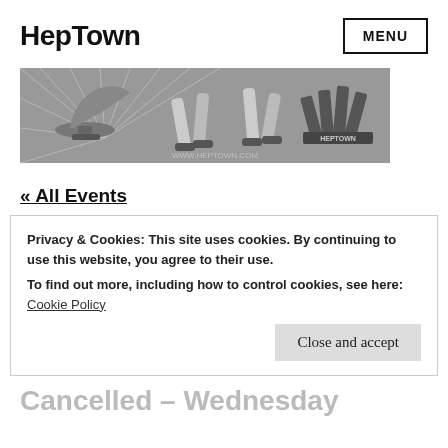HepTown
[Figure (illustration): HepTown website banner showing grayscale swing dancers with a gramophone on the left and the HepTown logo on the right, with www.heptown.com watermark]
« All Events
Privacy & Cookies: This site uses cookies. By continuing to use this website, you agree to their use.
To find out more, including how to control cookies, see here:
Cookie Policy
Close and accept
Cancelled – Wednesday